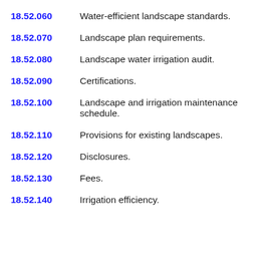18.52.060   Water-efficient landscape standards.
18.52.070   Landscape plan requirements.
18.52.080   Landscape water irrigation audit.
18.52.090   Certifications.
18.52.100   Landscape and irrigation maintenance schedule.
18.52.110   Provisions for existing landscapes.
18.52.120   Disclosures.
18.52.130   Fees.
18.52.140   Irrigation efficiency.